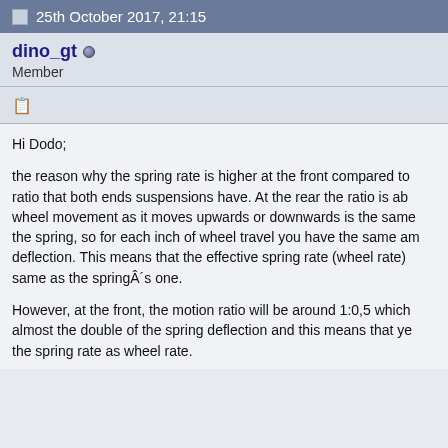25th October 2017, 21:15
dino_gt
Member
Hi Dodo;

the reason why the spring rate is higher at the front compared to ratio that both ends suspensions have. At the rear the ratio is ab wheel movement as it moves upwards or downwards is the same the spring, so for each inch of wheel travel you have the same am deflection. This means that the effective spring rate (wheel rate) same as the springÂ´s one.

However, at the front, the motion ratio will be around 1:0,5 which almost the double of the spring deflection and this means that ye the spring rate as wheel rate.